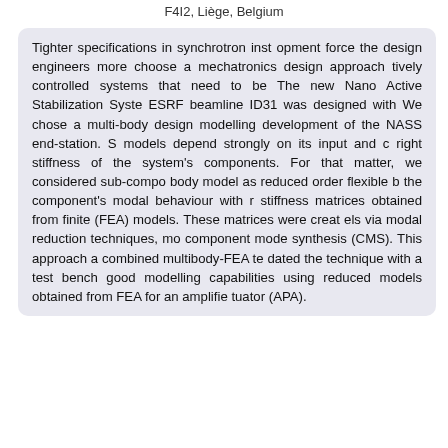F4I2, Liège, Belgium
Tighter specifications in synchrotron inst opment force the design engineers more choose a mechatronics design approach tively controlled systems that need to be The new Nano Active Stabilization Syste ESRF beamline ID31 was designed with We chose a multi-body design modelling development of the NASS end-station. S models depend strongly on its input and c right stiffness of the system's components. For that matter, we considered sub-compo body model as reduced order flexible b the component's modal behaviour with r stiffness matrices obtained from finite (FEA) models. These matrices were creat els via modal reduction techniques, mo component mode synthesis (CMS). This approach a combined multibody-FEA te dated the technique with a test bench good modelling capabilities using reduced models obtained from FEA for an amplifie tuator (APA).